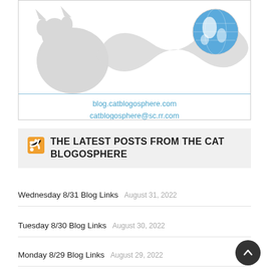[Figure (logo): Cat Blogosphere logo with a cat silhouette and infinity symbol holding a globe, with contact text: blog.catblogosphere.com and catblogosphere@sc.rr.com]
THE LATEST POSTS FROM THE CAT BLOGOSPHERE
Wednesday 8/31 Blog Links  August 31, 2022
Tuesday 8/30 Blog Links  August 30, 2022
Monday 8/29 Blog Links  August 29, 2022